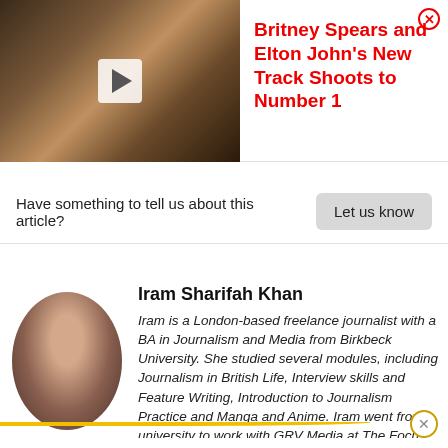[Figure (photo): Photo of two people (woman and man with red sunglasses) with a video play button overlay, part of a promotional banner]
Britney Spears and Elton John's New Track Shoots to Number 1
Have something to tell us about this article?
Let us know
Iram Sharifah Khan
[Figure (photo): Circular profile photo of Iram Sharifah Khan, a woman with long dark wavy hair]
Iram is a London-based freelance journalist with a BA in Journalism and Media from Birkbeck University. She studied several modules, including Journalism in British Life, Interview skills and Feature Writing, Introduction to Journalism Practice and Manga and Anime. Iram went from university to work with GRV Media at The Focus Writers Acad...